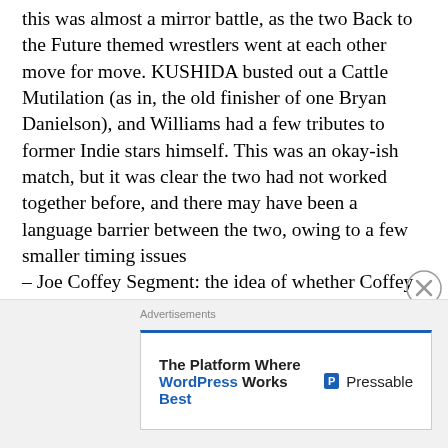this was almost a mirror battle, as the two Back to the Future themed wrestlers went at each other move for move. KUSHIDA busted out a Cattle Mutilation (as in, the old finisher of one Bryan Danielson), and Williams had a few tributes to former Indie stars himself. This was an okay-ish match, but it was clear the two had not worked together before, and there may have been a language barrier between the two, owing to a few smaller timing issues – Joe Coffey Segment: the idea of whether Coffey would have the night off, and therefore a bye into the quarter finals, was the idea here, and it got it's answer, quite definitively. I am not a fan of the way it ended up going, whether that be Coffey getting a
Advertisements
[Figure (other): Advertisement banner for Pressable: 'The Platform Where WordPress Works Best' with Pressable logo on the right]